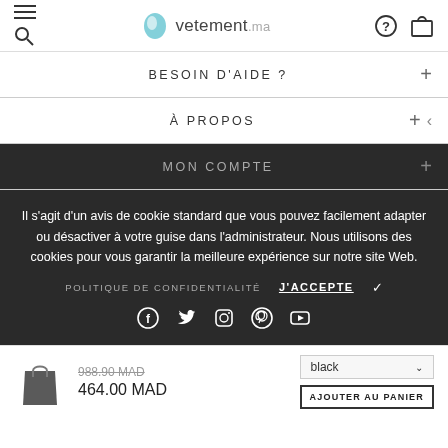vetement.ma
BESOIN D'AIDE ?
À PROPOS
MON COMPTE
Il s'agit d'un avis de cookie standard que vous pouvez facilement adapter ou désactiver à votre guise dans l'administrateur. Nous utilisons des cookies pour vous garantir la meilleure expérience sur notre site Web.
POLITIQUE DE CONFIDENTIALITÉ   J'ACCEPTE ✓
[Figure (other): Social media icons: Facebook, Twitter, Instagram, Pinterest, YouTube]
988.90 MAD (strikethrough)  464.00 MAD   black   AJOUTER AU PANIER